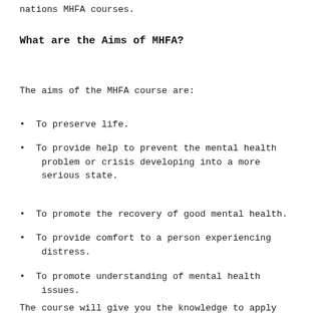nations MHFA courses.
What are the Aims of MHFA?
The aims of the MHFA course are:
To preserve life.
To provide help to prevent the mental health problem or crisis developing into a more serious state.
To promote the recovery of good mental health.
To provide comfort to a person experiencing distress.
To promote understanding of mental health issues.
The course will give you the knowledge to apply